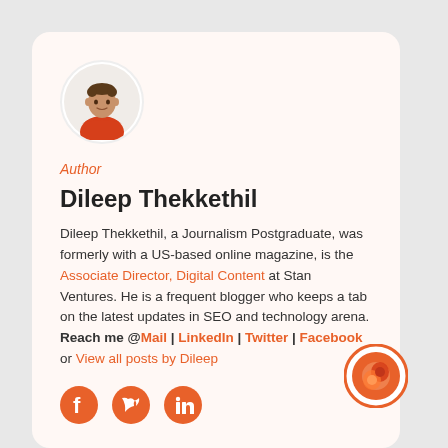[Figure (photo): Circular avatar photo of Dileep Thekkethil wearing a red sweater]
Author
Dileep Thekkethil
Dileep Thekkethil, a Journalism Postgraduate, was formerly with a US-based online magazine, is the Associate Director, Digital Content at Stan Ventures. He is a frequent blogger who keeps a tab on the latest updates in SEO and technology arena. Reach me @Mail | LinkedIn | Twitter | Facebook or View all posts by Dileep
[Figure (logo): Three social media icons: Facebook, Twitter, LinkedIn in orange]
[Figure (logo): Stan Ventures logo badge at bottom right]